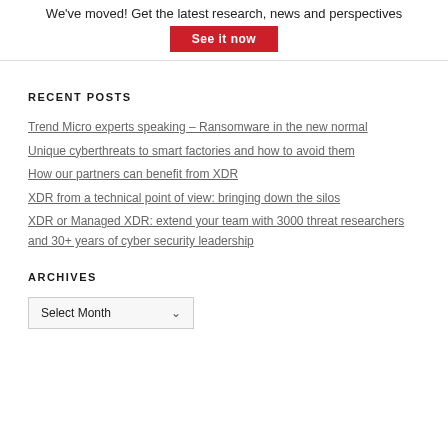We've moved! Get the latest research, news and perspectives
See it now
RECENT POSTS
Trend Micro experts speaking – Ransomware in the new normal
Unique cyberthreats to smart factories and how to avoid them
How our partners can benefit from XDR
XDR from a technical point of view: bringing down the silos
XDR or Managed XDR: extend your team with 3000 threat researchers and 30+ years of cyber security leadership
ARCHIVES
Select Month